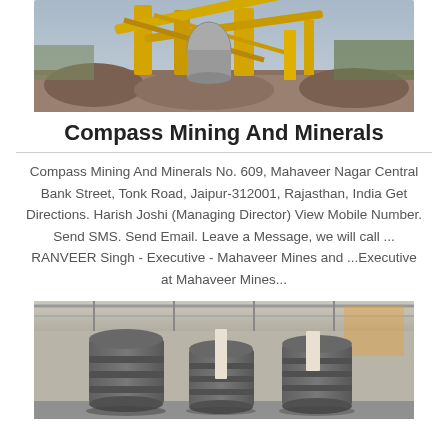[Figure (photo): Outdoor mining site with yellow heavy machinery, conveyor belts, and stone/rock materials under construction.]
Compass Mining And Minerals
Compass Mining And Minerals No. 609, Mahaveer Nagar Central Bank Street, Tonk Road, Jaipur-312001, Rajasthan, India Get Directions. Harish Joshi (Managing Director) View Mobile Number. Send SMS. Send Email. Leave a Message, we will call ... RANVEER Singh - Executive - Mahaveer Mines and ...Executive at Mahaveer Mines...
[Figure (photo): Indoor industrial facility with large grey cylindrical crushing machines lined up under a metal roof structure.]